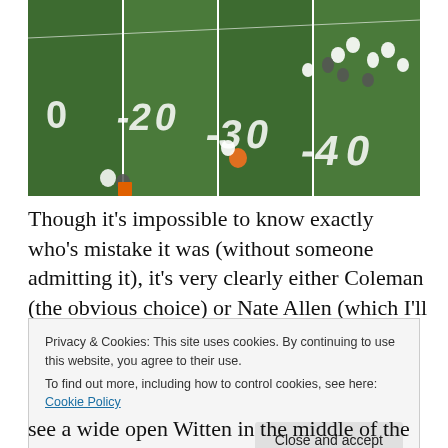[Figure (photo): Aerial view of an American football game in progress, showing players on a green field with yard markers at the 20, 30, and 40 yard lines. Players in white and dark uniforms are visible.]
Though it’s impossible to know exactly who’s mistake it was (without someone admitting it), it’s very clearly either Coleman (the obvious choice) or Nate Allen (which I’ll
Privacy & Cookies: This site uses cookies. By continuing to use this website, you agree to their use.
To find out more, including how to control cookies, see here: Cookie Policy
see a wide open Witten in the middle of the field, with no